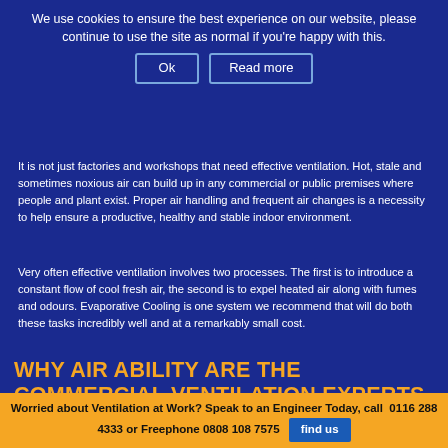We use cookies to ensure the best experience on our website, please continue to use the site as normal if you're happy with this.
Ok | Read more
It is not just factories and workshops that need effective ventilation. Hot, stale and sometimes noxious air can build up in any commercial or public premises where people and plant exist. Proper air handling and frequent air changes is a necessity to help ensure a productive, healthy and stable indoor environment.
Very often effective ventilation involves two processes. The first is to introduce a constant flow of cool fresh air, the second is to expel heated air along with fumes and odours. Evaporative Cooling is one system we recommend that will do both these tasks incredibly well and at a remarkably small cost.
WHY AIR ABILITY ARE THE COMMERCIAL VENTILATION EXPERTS
Air Ability are experienced in all forms of direct...
[Figure (engineering-diagram): Engineering schematic/blueprint showing technical drawing with ruler and pencil, number 33 visible, Z-18 m=0.8 annotation]
Worried about Ventilation at Work? Speak to an Engineer Today, call  0116 288 4333 or Freephone 0808 108 7575  find us